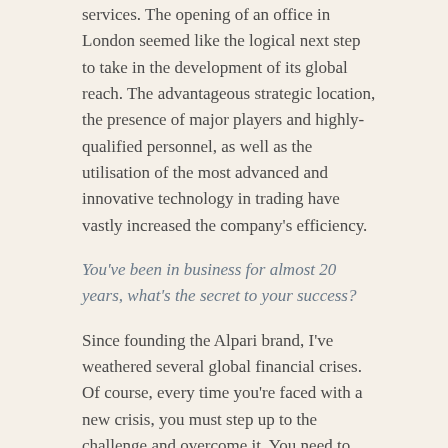services. The opening of an office in London seemed like the logical next step to take in the development of its global reach. The advantageous strategic location, the presence of major players and highly-qualified personnel, as well as the utilisation of the most advanced and innovative technology in trading have vastly increased the company's efficiency.
You've been in business for almost 20 years, what's the secret to your success?
Since founding the Alpari brand, I've weathered several global financial crises. Of course, every time you're faced with a new crisis, you must step up to the challenge and overcome it. You need to pick yourself up, gather your strength, and keep moving forward. If you don't, your competitors will steal the limelight away from you.
I believe that a crisis is a time for winners, for testing the stability of a company, for making the right decisions, for taking the opportunity to implement bold ideas and,